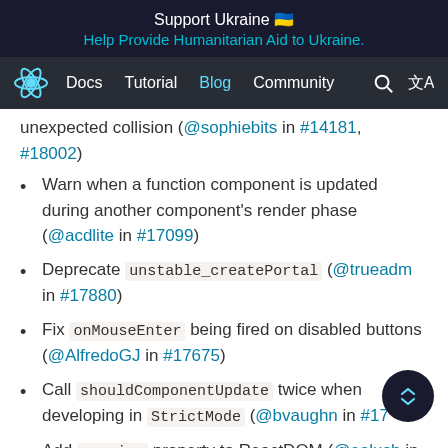Support Ukraine 🇺🇦
Help Provide Humanitarian Aid to Ukraine.
Docs  Tutorial  Blog  Community
unexpected collision (@sophiebits in #14181, #18002)
Warn when a function component is updated during another component's render phase (@acdlite in #17099)
Deprecate unstable_createPortal (@trueadm in #17880)
Fix onMouseEnter being fired on disabled buttons (@AlfredoGJ in #17675)
Call shouldComponentUpdate twice when developing in StrictMode (@bvaughn in #17...
Add version property to ReactDOM (@ealush in